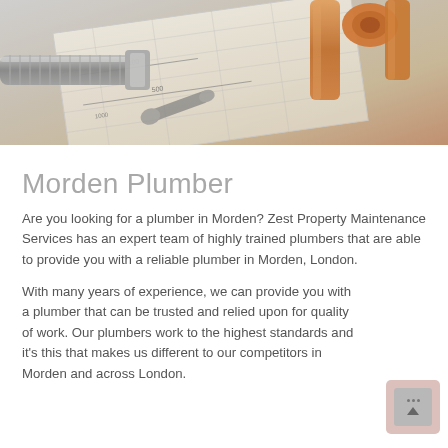[Figure (photo): Photo of plumbing tools including pipes, connectors, fittings, and copper pipes laid out on architectural/technical drawings]
Morden Plumber
Are you looking for a plumber in Morden? Zest Property Maintenance Services has an expert team of highly trained plumbers that are able to provide you with a reliable plumber in Morden, London.
With many years of experience, we can provide you with a plumber that can be trusted and relied upon for quality of work. Our plumbers work to the highest standards and it's this that makes us different to our competitors in Morden and across London.